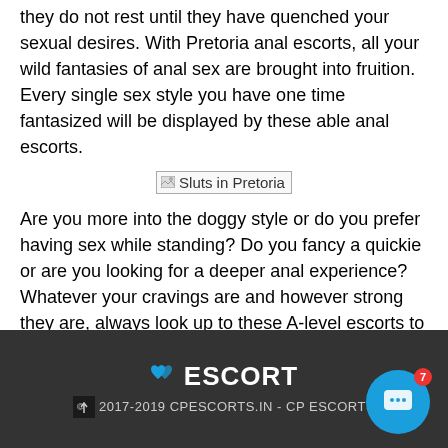they do not rest until they have quenched your sexual desires. With Pretoria anal escorts, all your wild fantasies of anal sex are brought into fruition. Every single sex style you have one time fantasized will be displayed by these able anal escorts.
[Figure (other): Broken image placeholder with alt text 'Sluts in Pretoria']
Are you more into the doggy style or do you prefer having sex while standing? Do you fancy a quickie or are you looking for a deeper anal experience? Whatever your cravings are and however strong they are, always look up to these A-level escorts to quench your desire. It is also important to note that Pretoria escorts have more to their job description than offering anal sexual experience.
© 2017-2019 CPESCORTS.IN - CP ESCORTS